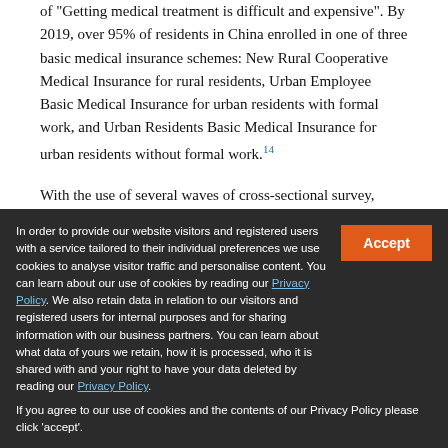of "Getting medical treatment is difficult and expensive". By 2019, over 95% of residents in China enrolled in one of three basic medical insurance schemes: New Rural Cooperative Medical Insurance for rural residents, Urban Employee Basic Medical Insurance for urban residents with formal work, and Urban Residents Basic Medical Insurance for urban residents without formal work.[14]
With the use of several waves of cross-sectional survey, numerous studies have been published to investigate the distribution and the determinants of catastrophic health expenditure (CHE) after household covered by health insurance. The studies found that despite the rapid...
In order to provide our website visitors and registered users with a service tailored to their individual preferences we use cookies to analyse visitor traffic and personalise content. You can learn about our use of cookies by reading our Privacy Policy. We also retain data in relation to our visitors and registered users for internal purposes and for sharing information with our business partners. You can learn about what data of yours we retain, how it is processed, who it is shared with and your right to have your data deleted by reading our Privacy Policy. If you agree to our use of cookies and the contents of our Privacy Policy please click 'accept'.